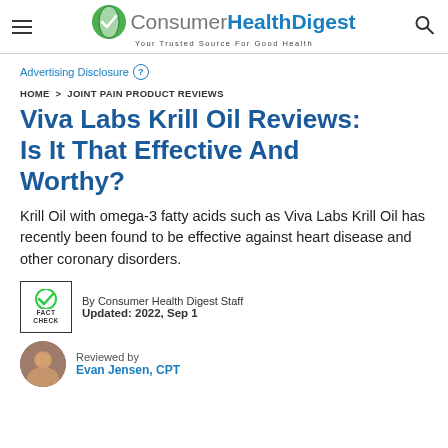Consumer Health Digest — Your Trusted Source For Good Health
Advertising Disclosure ?
HOME > JOINT PAIN PRODUCT REVIEWS
Viva Labs Krill Oil Reviews: Is It That Effective And Worthy?
Krill Oil with omega-3 fatty acids such as Viva Labs Krill Oil has recently been found to be effective against heart disease and other coronary disorders.
By Consumer Health Digest Staff
Updated: 2022, Sep 1
Reviewed by
Evan Jensen, CPT